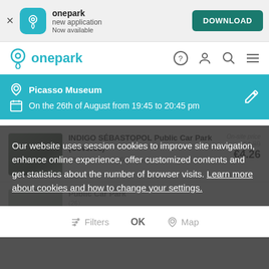[Figure (screenshot): App download banner with onepark logo, 'new application Now available' text and DOWNLOAD button]
[Figure (screenshot): Onepark navigation bar with logo and icons for help, profile, search, menu]
Picasso Museum
On the 26th of August from 19:45 to 20:45 pm
INDIGO SÉBASTOPOL Public Car Park (Covered)
Our website uses session cookies to improve site navigation, enhance online experience, offer customized contents and get statistics about the number of browser visits. Learn more about cookies and how to change your settings.
On-site price
€4.89
€4.26
Public Car Park
Filters   OK   Map